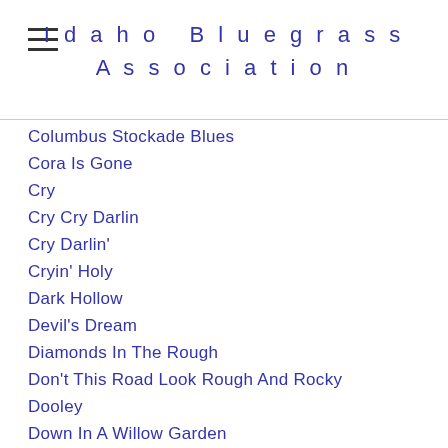Idaho Bluegrass Association
Columbus Stockade Blues
Cora Is Gone
Cry
Cry Cry Darlin
Cry Darlin'
Cryin' Holy
Dark Hollow
Devil's Dream
Diamonds In The Rough
Don't This Road Look Rough And Rocky
Dooley
Down In A Willow Garden
Down The Road
East Virginia Blues
Feast Here Tonight
Fireball Mail
Foggy Mountain Breakdown